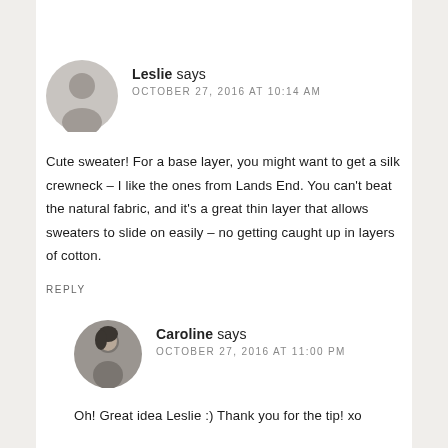Leslie says OCTOBER 27, 2016 AT 10:14 AM
Cute sweater! For a base layer, you might want to get a silk crewneck – I like the ones from Lands End. You can't beat the natural fabric, and it's a great thin layer that allows sweaters to slide on easily – no getting caught up in layers of cotton.
REPLY
Caroline says OCTOBER 27, 2016 AT 11:00 PM
Oh! Great idea Leslie :) Thank you for the tip! xo